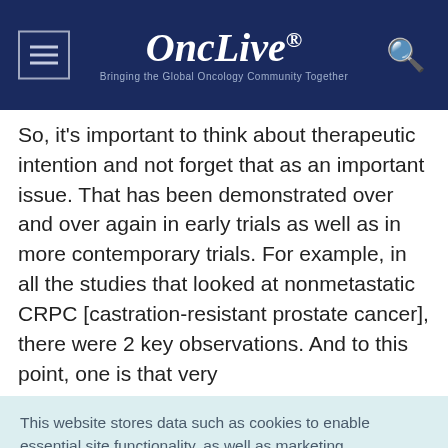OncLive® — Bringing the Global Oncology Community Together
So, it's important to think about therapeutic intention and not forget that as an important issue. That has been demonstrated over and over again in early trials as well as in more contemporary trials. For example, in all the studies that looked at nonmetastatic CRPC [castration-resistant prostate cancer], there were 2 key observations. And to this point, one is that very
This website stores data such as cookies to enable essential site functionality, as well as marketing, personalization, and analytics. Cookie Policy
Accept
Deny